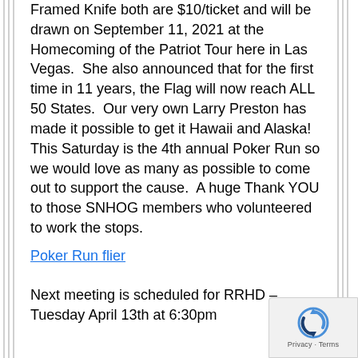Framed Knife both are $10/ticket and will be drawn on September 11, 2021 at the Homecoming of the Patriot Tour here in Las Vegas.  She also announced that for the first time in 11 years, the Flag will now reach ALL 50 States.  Our very own Larry Preston has made it possible to get it Hawaii and Alaska!  This Saturday is the 4th annual Poker Run so we would love as many as possible to come out to support the cause.  A huge Thank YOU to those SNHOG members who volunteered to work the stops.
Poker Run flier
Next meeting is scheduled for RRHD – Tuesday April 13th at 6:30pm